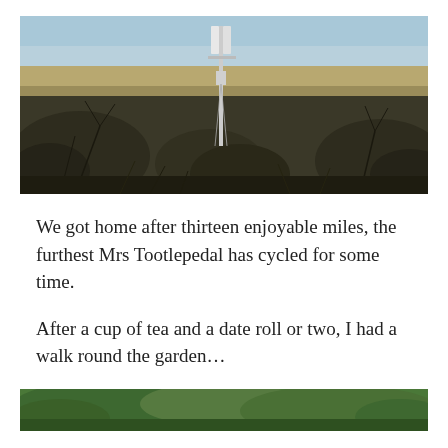[Figure (photo): Outdoor landscape photo showing bare winter shrubs and scrubland with a mobile phone mast/telecommunications tower visible in the center background against a blue sky.]
We got home after thirteen enjoyable miles, the furthest Mrs Tootlepedal has cycled for some time.
After a cup of tea and a date roll or two, I had a walk round the garden…
[Figure (photo): Partially visible outdoor garden photo showing green hedges and foliage, cropped at bottom of page.]